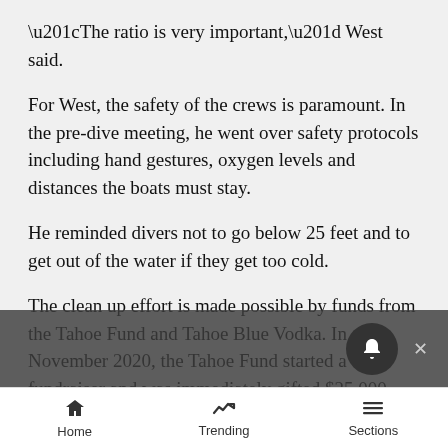“The ratio is very important,” West said.
For West, the safety of the crews is paramount. In the pre-dive meeting, he went over safety protocols including hand gestures, oxygen levels and distances the boats must stay.
He reminded divers not to go below 25 feet and to get out of the water if they get too cold.
The clean up effort is made possible by funds from the Tahoe Fund and Tahoe Blue Vodka. In November 2020, the Tahoe Fund started a fundraiser and was immediately gifted $25,000 from Vail Resorts. They also received large donations from Tahoe Truckee Community Foundation in Association with Martis Fund, Tahoe Mountain Resorts Foundation and
Home  Trending  Sections